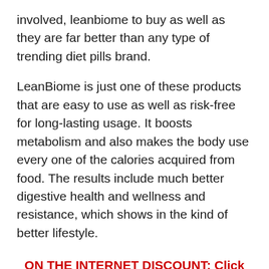involved, leanbiome to buy as well as they are far better than any type of trending diet pills brand.
LeanBiome is just one of these products that are easy to use as well as risk-free for long-lasting usage. It boosts metabolism and also makes the body use every one of the calories acquired from food. The results include much better digestive health and wellness and resistance, which shows in the kind of better lifestyle.
ON THE INTERNET DISCOUNT: Click Here to Acquisition LeanBiome at the most affordable Price Today
What is inside the LeanBi...